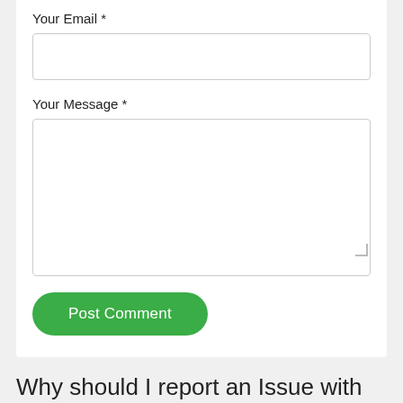Your Email *
Your Message *
Post Comment
Why should I report an Issue with